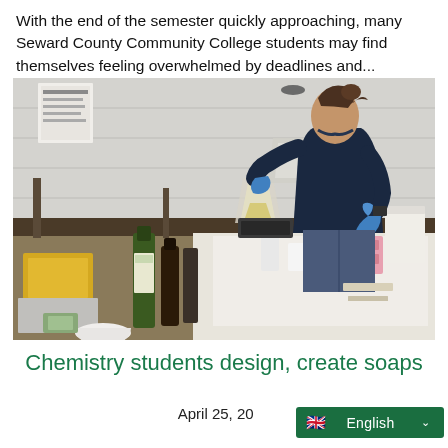With the end of the semester quickly approaching, many Seward County Community College students may find themselves feeling overwhelmed by deadlines and...
[Figure (photo): A female student wearing a navy hoodie and blue gloves pours liquid from a container into a beaker in a chemistry lab. The lab bench is covered with various bottles, containers, and materials used for making soap.]
Chemistry students design, create soaps
April 25, 20
English